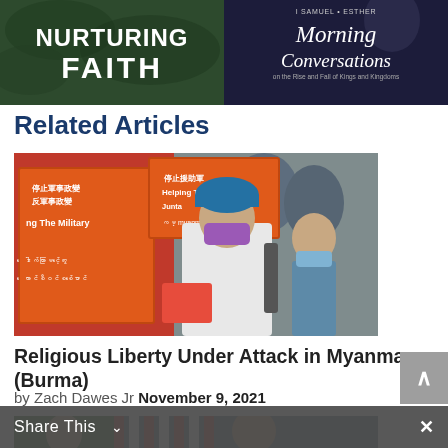[Figure (photo): Advertisement banner for 'Nurturing Faith' and '1 Samuel–Esther: Morning Conversations on the Rise and Fall of Kings and Kingdoms'. Left half shows dark green background with white bold text. Right half shows dark navy background with cursive white text.]
Related Articles
[Figure (photo): Photo of protesters holding orange signs in English, Chinese, and Burmese text related to Myanmar military coup protests. People are wearing face masks.]
Religious Liberty Under Attack in Myanmar (Burma)
by Zach Dawes Jr  November 9, 2021
[Figure (photo): Partial photo at bottom of page showing a person and American flags, likely related to a political or diplomatic scene.]
Share This  ∨  ×